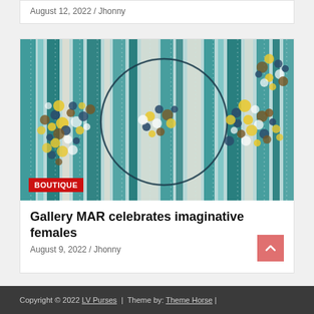August 12, 2022 / Jhonny
[Figure (illustration): Abstract painting with teal vertical streaks and colorful floral/dot clusters in yellow, blue, brown, and white, with a large dark circle outline in the center. BOUTIQUE badge overlaid in bottom-left.]
Gallery MAR celebrates imaginative females
August 9, 2022 / Jhonny
Copyright © 2022 LV Purses | Theme by: Theme Horse |